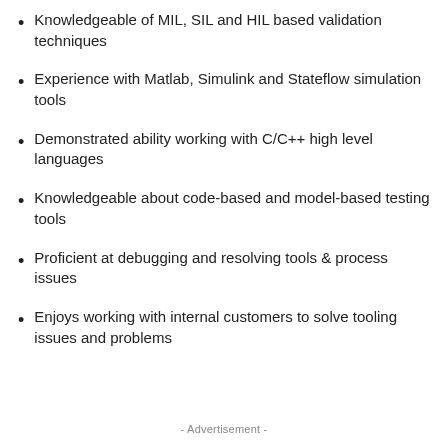Knowledgeable of MIL, SIL and HIL based validation techniques
Experience with Matlab, Simulink and Stateflow simulation tools
Demonstrated ability working with C/C++ high level languages
Knowledgeable about code-based and model-based testing tools
Proficient at debugging and resolving tools & process issues
Enjoys working with internal customers to solve tooling issues and problems
- Advertisement -